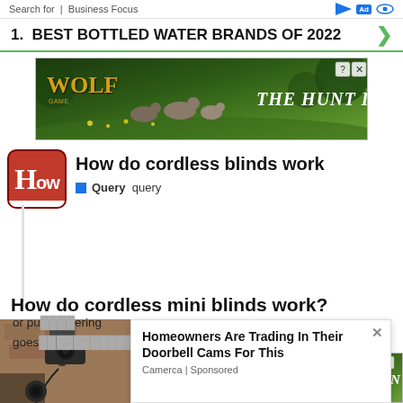Search for | Business Focus
1. BEST BOTTLED WATER BRANDS OF 2022
[Figure (photo): Wolf game advertisement banner showing wolves running in a field with text 'WOLF' and 'THE HUNT IS ON!']
How do cordless blinds work
Query  query
How do cordless mini blinds work?
[Figure (photo): Pop-up advertisement showing a security camera on a wall with text 'Homeowners Are Trading In Their Doorbell Cams For This' from Camerca | Sponsored]
or pu...ering goes...nt.
[Figure (photo): Wolf game advertisement banner at bottom showing wolves with text 'THE HUNT IS ON!']